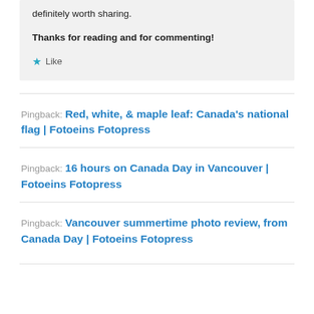definitely worth sharing.

Thanks for reading and for commenting!
★ Like
Pingback: Red, white, & maple leaf: Canada's national flag | Fotoeins Fotopress
Pingback: 16 hours on Canada Day in Vancouver | Fotoeins Fotopress
Pingback: Vancouver summertime photo review, from Canada Day | Fotoeins Fotopress